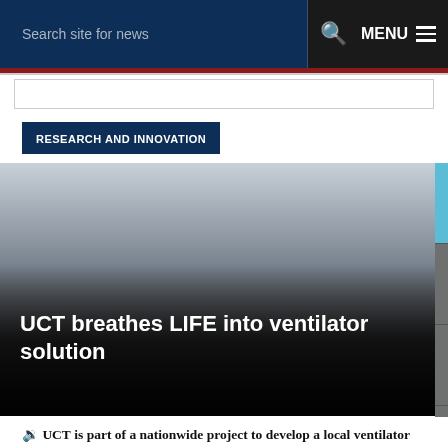Search site for news  MENU
RESEARCH AND INNOVATION
[Figure (photo): Photograph used as hero image background for a news article about UCT ventilator project, showing a dark gradient sky/landscape scene]
UCT breathes LIFE into ventilator solution
UCT is part of a nationwide project to develop a local ventilator that has been authorised for rollout across